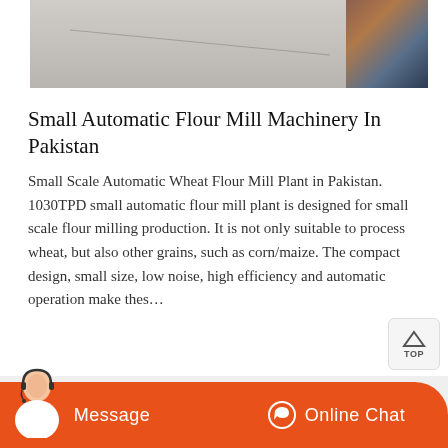[Figure (photo): Construction site or industrial facility photo strip at the top of the page]
Small Automatic Flour Mill Machinery In Pakistan
Small Scale Automatic Wheat Flour Mill Plant in Pakistan. 1030TPD small automatic flour mill plant is designed for small scale flour milling production. It is not only suitable to process wheat, but also other grains, such as corn/maize. The compact design, small size, low noise, high efficiency and automatic operation make thes…
Blogs
Old Nd Hand Crusher   How Much Is Ballast Stone Crusher
Practical Appliions Of Primary Crushers